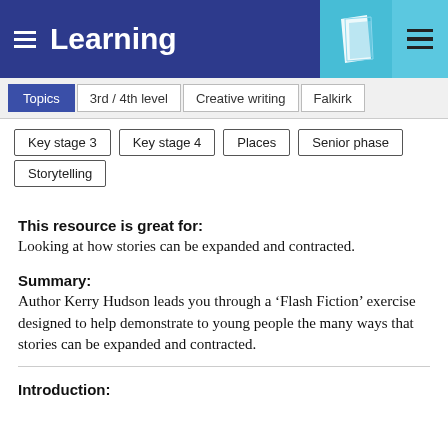Learning
Topics
3rd / 4th level
Creative writing
Falkirk
Key stage 3
Key stage 4
Places
Senior phase
Storytelling
This resource is great for:
Looking at how stories can be expanded and contracted.
Summary:
Author Kerry Hudson leads you through a ‘Flash Fiction’ exercise designed to help demonstrate to young people the many ways that stories can be expanded and contracted.
Introduction: